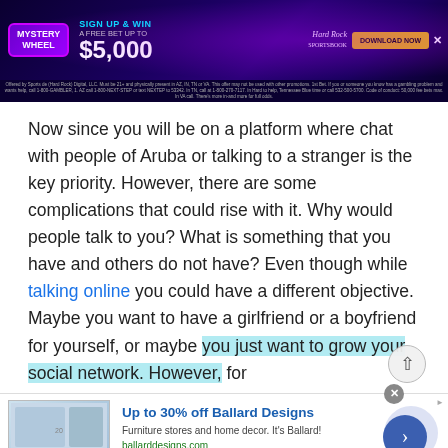[Figure (screenshot): Hard Rock Sportsbook advertisement banner: Mystery Wheel promotion, Sign Up & Win A Free Bet Up To $5,000, Download Now button, close X button, disclaimer text]
Now since you will be on a platform where chat with people of Aruba or talking to a stranger is the key priority. However, there are some complications that could rise with it. Why would people talk to you? What is something that you have and others do not have? Even though while talking online you could have a different objective. Maybe you want to have a girlfriend or a boyfriend for yourself, or maybe you just want to grow your social network. However, for
[Figure (screenshot): Ballard Designs advertisement: Up to 30% off Ballard Designs, Furniture stores and home decor. It's Ballard!, ballarddesigns.com, with furniture image and navigation arrow]